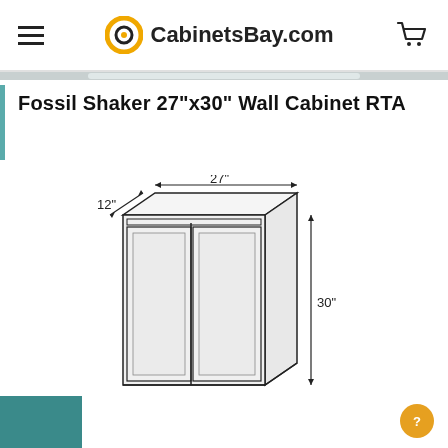CabinetsBay.com
Fossil Shaker 27"x30" Wall Cabinet RTA
[Figure (engineering-diagram): Line drawing of a two-door wall cabinet with dimensions: 12" depth (top), 27" width, 30" height]